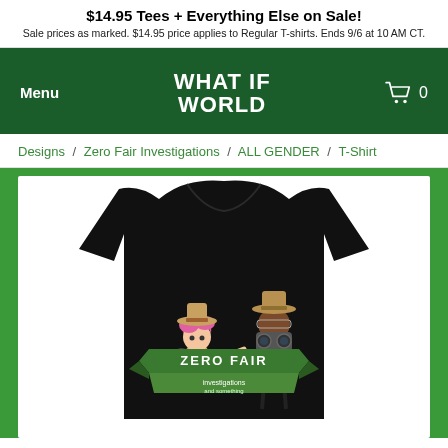$14.95 Tees + Everything Else on Sale! Sale prices as marked. $14.95 price applies to Regular T-shirts. Ends 9/6 at 10 AM CT.
[Figure (screenshot): Navigation bar with dark green background, 'Menu' on left, 'WHAT IF WORLD' logo in center, shopping cart icon and '0' on right]
Designs / Zero Fair Investigations / ALL GENDER / T-Shirt
[Figure (photo): Black t-shirt on white background featuring a design with two cartoon characters wearing fedora hats — a pink-haired fairy girl and a dark-skinned man holding binoculars — above a green banner reading 'ZERO FAIR investigations and something'. The shirt is displayed on a green background.]